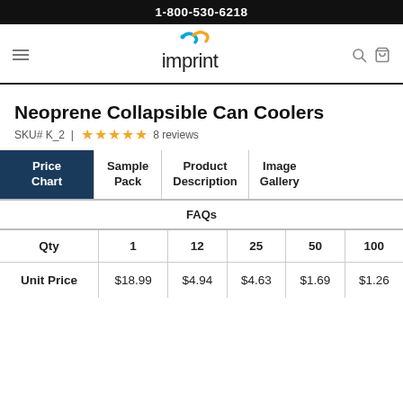1-800-530-6218
[Figure (logo): Imprint company logo with colorful swoosh above the word 'imprint']
Neoprene Collapsible Can Coolers
SKU# K_2  |  ★★★★★  8 reviews
|  | Price Chart | Sample Pack | Product Description | Image Gallery | FAQs |
| --- | --- | --- | --- | --- | --- |
| Qty | 1 | 12 | 25 | 50 | 100 |
| --- | --- | --- | --- | --- | --- |
| Unit Price | $18.99 | $4.94 | $4.63 | $1.69 | $1.26 |